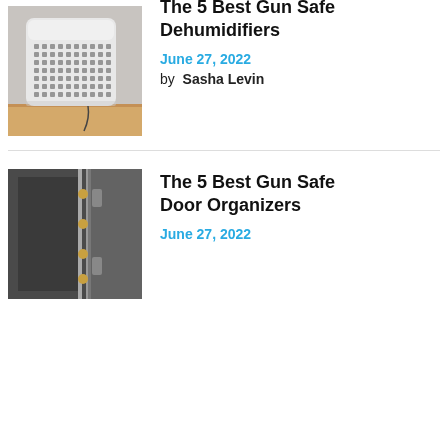[Figure (photo): A white dehumidifier appliance with a grid of dark vents on a wooden floor against a grey wall]
The 5 Best Gun Safe Dehumidifiers
June 27, 2022
by  Sasha Levin
[Figure (photo): Interior of a gun safe door showing metal bolts and gun holders against a dark grey background]
The 5 Best Gun Safe Door Organizers
June 27, 2022